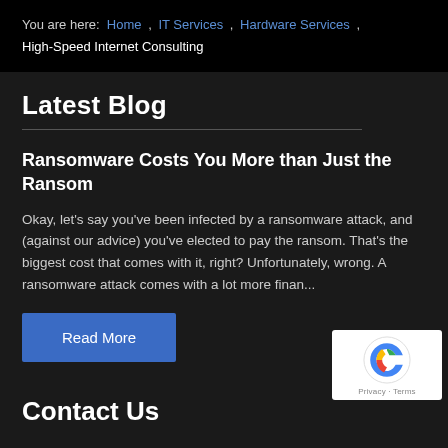You are here: Home , IT Services , Hardware Services , High-Speed Internet Consulting
Latest Blog
Ransomware Costs You More than Just the Ransom
Okay, let's say you've been infected by a ransomware attack, and (against our advice) you've elected to pay the ransom. That's the biggest cost that comes with it, right? Unfortunately, wrong. A ransomware attack comes with a lot more finan...
Read More
Contact Us